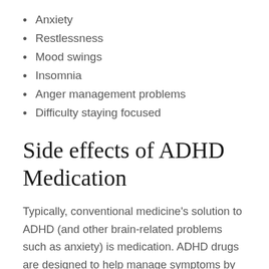Anxiety
Restlessness
Mood swings
Insomnia
Anger management problems
Difficulty staying focused
Side effects of ADHD Medication
Typically, conventional medicine's solution to ADHD (and other brain-related problems such as anxiety) is medication. ADHD drugs are designed to help manage symptoms by targeting certain neurotransmitters in the brain. Adderall and Ritalin are two of the most common ADHD medications, and they work to dull symptoms for many people, but they also come with a variety of side effects, including trouble sleeping,